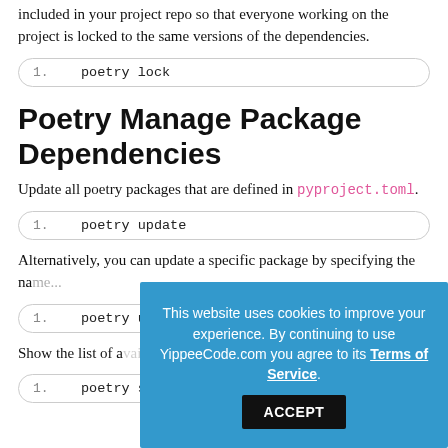included in your project repo so that everyone working on the project is locked to the same versions of the dependencies.
1.  poetry lock
Poetry Manage Package Dependencies
Update all poetry packages that are defined in pyproject.toml.
1.  poetry update
Alternatively, you can update a specific package by specifying the name...
1.  poetry u...
Show the list of a...
1.  poetry show
[Figure (other): Cookie consent overlay banner with blue background. Text: 'This website uses cookies to improve your experience. By continuing to use YippeeCode.com you agree to its Terms of Service.' with an ACCEPT button.]